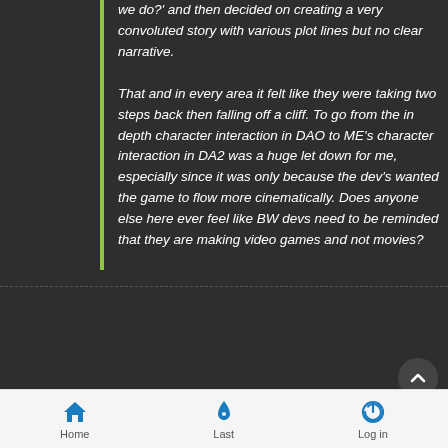we do?' and then decided on creating a very convoluted story with various plot lines but no clear narrative.
That and in every area it felt like they were taking two steps back then falling off a cliff. To go from the in depth character interaction in DAO to ME's character interaction in DA2 was a huge let down for me, especially since it was only because the dev's wanted the game to flow more cinematically. Does anyone else here ever feel like BW devs need to be reminded that they are making video games and not movies?
Once again, it's because of Gaider's badness. He can't handle it when one of his "moral dilemmas" isn't so much of a dilemma. When the playerbase slants too much in one direction. As it turns out, not too many people picked the "yes, let's brutally murder children because some religious nutjob said it's pro a good idea" option at the Circle Tower in DAO. No really,
Home  Last  Log in